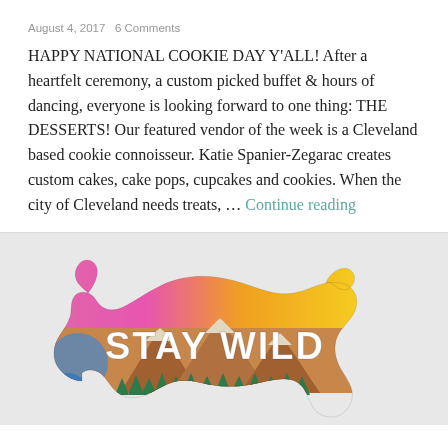August 4, 2017   6 Comments
HAPPY NATIONAL COOKIE DAY Y'ALL! After a heartfelt ceremony, a custom picked buffet & hours of dancing, everyone is looking forward to one thing: THE DESSERTS! Our featured vendor of the week is a Cleveland based cookie connoisseur. Katie Spanier-Zegarac creates custom cakes, cake pops, cupcakes and cookies. When the city of Cleveland needs treats, … Continue reading
[Figure (illustration): A colorful watercolor-style bear silhouette filled with a mountain landscape scene including pine trees and mountains. The bear contains text 'STAY WILD' in large white bold letters.]